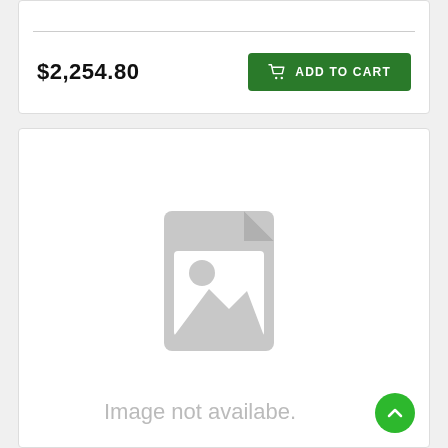$2,254.80
ADD TO CART
[Figure (illustration): Placeholder image icon: gray document/file icon with a landscape photo placeholder (circle sun and mountain silhouette) on a white background]
Image not availabe.